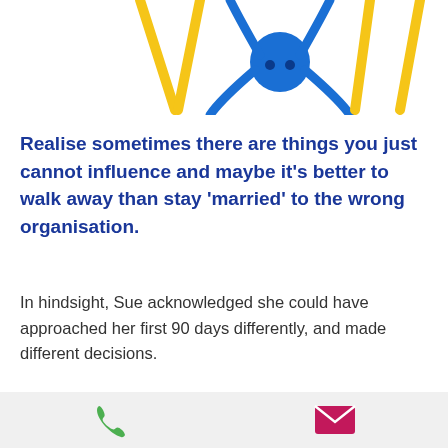[Figure (photo): Toy figures: yellow stick figures and a blue spider-like toy figure on white background, partially cropped at top of page]
Realise sometimes there are things you just cannot influence and maybe it’s better to walk away than stay ‘married’ to the wrong organisation.
In hindsight, Sue acknowledged she could have approached her first 90 days differently, and made different decisions.
The good news is, she has proved she is resilient and landed on the other hand of
Phone and email icons